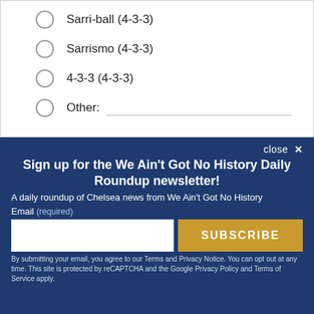Sarri-ball (4-3-3)
Sarrismo (4-3-3)
4-3-3 (4-3-3)
Other:
close ×
Sign up for the We Ain't Got No History Daily Roundup newsletter!
A daily roundup of Chelsea news from We Ain't Got No History
Email (required)
SUBSCRIBE
By submitting your email, you agree to our Terms and Privacy Notice. You can opt out at any time. This site is protected by reCAPTCHA and the Google Privacy Policy and Terms of Service apply.